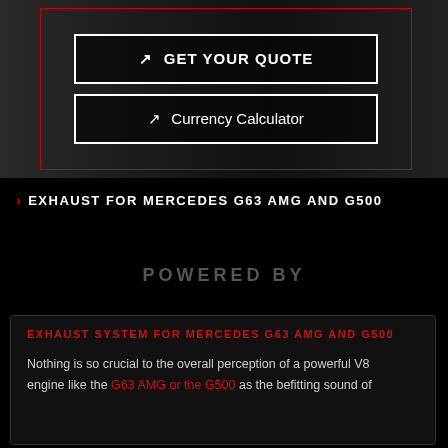[Figure (photo): Dark hero image of a Mercedes G63 AMG / G500 engine bay with a red-bordered overlay box containing two buttons: GET YOUR QUOTE and Currency Calculator]
GET YOUR QUOTE
Currency Calculator
EXHAUST FOR MERCEDES G63 AMG AND G500
POWERED BY
EXHAUST SYSTEM FOR MERCEDES G63 AMG AND G500
Nothing is so crucial to the overall perception of a powerful V8 engine like the G63 AMG or the G500 as the befitting sound of